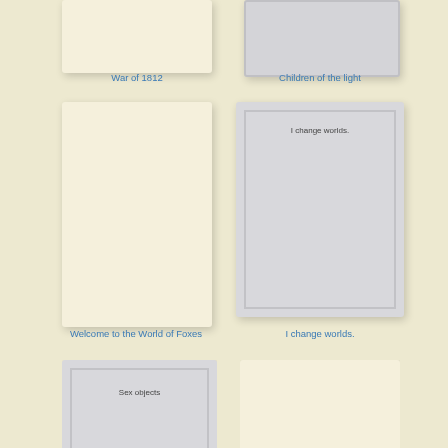[Figure (illustration): Book cover thumbnail, cream colored, no text visible, partially cropped at top - War of 1812]
War of 1812
[Figure (illustration): Book cover thumbnail, gray colored, no text visible, partially cropped at top - Children of the light]
Children of the light
[Figure (illustration): Book cover thumbnail, cream colored, large, tall - Welcome to the World of Foxes]
Welcome to the World of Foxes
[Figure (illustration): Book cover thumbnail, gray with inner border, text: I change worlds.]
I change worlds.
[Figure (illustration): Book cover thumbnail, gray with inner border, text: Sex objects, partially cropped at bottom]
[Figure (illustration): Book cover thumbnail, cream colored, partially cropped at bottom]